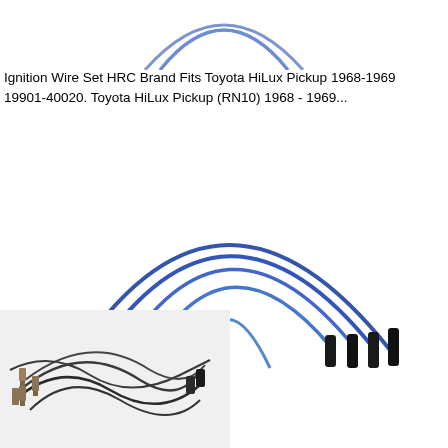[Figure (photo): Partial view of blue ignition wire set arc at top of page, cropped]
Ignition Wire Set HRC Brand Fits Toyota HiLux Pickup 1968-1969 19901-40020. Toyota HiLux Pickup (RN10) 1968 - 1969...
[Figure (photo): Blue ignition wire set for Toyota HiLux Pickup, showing multiple wires fanned out in a semi-circle arc with black connectors on each end, on a white background]
[Figure (photo): Smaller product thumbnail image of a dark/black ignition wire set spread out on white background, different product or alternate view]